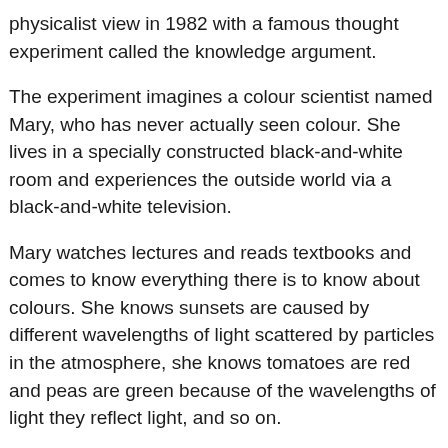physicalist view in 1982 with a famous thought experiment called the knowledge argument.
The experiment imagines a colour scientist named Mary, who has never actually seen colour. She lives in a specially constructed black-and-white room and experiences the outside world via a black-and-white television.
Mary watches lectures and reads textbooks and comes to know everything there is to know about colours. She knows sunsets are caused by different wavelengths of light scattered by particles in the atmosphere, she knows tomatoes are red and peas are green because of the wavelengths of light they reflect light, and so on.